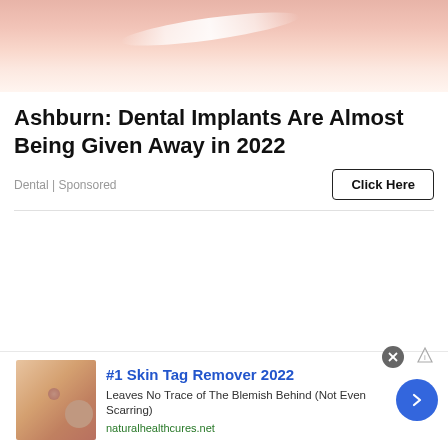[Figure (photo): Close-up photo of lips with glossy pinkish-peach skin, top portion cropped]
Ashburn: Dental Implants Are Almost Being Given Away in 2022
Dental | Sponsored
Click Here
[Figure (photo): Small thumbnail image showing close-up of skin with skin tags]
#1 Skin Tag Remover 2022
Leaves No Trace of The Blemish Behind (Not Even Scarring)
naturalhealthcures.net